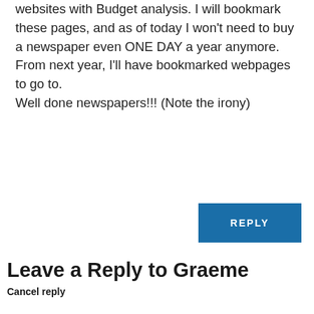websites with Budget analysis. I will bookmark these pages, and as of today I won't need to buy a newspaper even ONE DAY a year anymore. From next year, I'll have bookmarked webpages to go to.
Well done newspapers!!! (Note the irony)
REPLY
Leave a Reply to Graeme
Cancel reply
Your email address will not be published. Required fields are marked *
Comment *